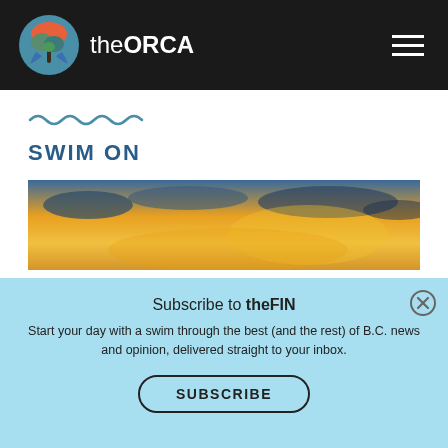theORCA
[Figure (illustration): Wavy line decoration in steel blue color]
SWIM ON
[Figure (photo): Sunset sky with golden clouds and dramatic lighting]
Subscribe to theFIN
Start your day with a swim through the best (and the rest) of B.C. news and opinion, delivered straight to your inbox.
SUBSCRIBE